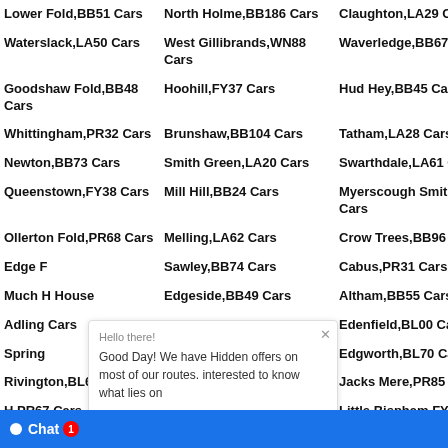Lower Fold,BB51 Cars
North Holme,BB186 Cars
Claughton,LA29 Cars
Waterslack,LA50 Cars
West Gillibrands,WN88 Cars
Waverledge,BB67 Cars
Goodshaw Fold,BB48 Cars
Hoohill,FY37 Cars
Hud Hey,BB45 Cars
Whittingham,PR32 Cars
Brunshaw,BB104 Cars
Tatham,LA28 Cars
Newton,BB73 Cars
Smith Green,LA20 Cars
Swarthdale,LA61 Cars
Queenstown,FY38 Cars
Mill Hill,BB24 Cars
Myerscough Smithy,BB27 Cars
Ollerton Fold,PR68 Cars
Melling,LA62 Cars
Crow Trees,BB96 Cars
Edge F...
Sawley,BB74 Cars
Cabus,PR31 Cars
Much H...
Edgeside,BB49 Cars
Altham,BB55 Cars
Adling... Cars
Aldcliffe,LA15 Cars
Edenfield,BL00 Cars
Spring...
Nelson,BB97 Cars
Edgworth,BL70 Cars
Rivington,BL67 Cars
Moss Side,PR267 Cars
Jacks Mere,PR85 Cars
H...PR67 Cars
Copster Green,BB19 Cars
Little Bispham,FY51 Cars